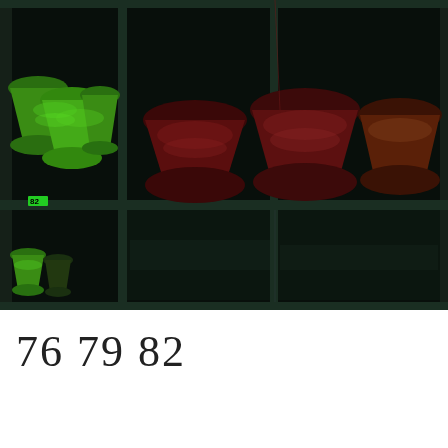[Figure (photo): Dark industrial shelving unit with cone-shaped yarn spools. Left column has bright green yarn cones on upper and lower shelves with a label '82'. Center and right sections on the upper shelf hold dark red/maroon and brownish-red cone-shaped yarn spools. Lower shelves are mostly empty and dark.]
76 79 82